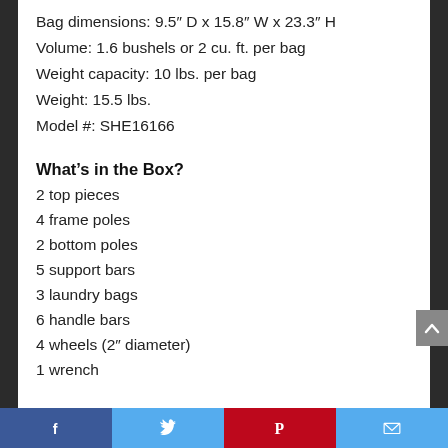Bag dimensions: 9.5″ D x 15.8″ W x 23.3″ H
Volume: 1.6 bushels or 2 cu. ft. per bag
Weight capacity: 10 lbs. per bag
Weight: 15.5 lbs.
Model #: SHE16166
What’s in the Box?
2 top pieces
4 frame poles
2 bottom poles
5 support bars
3 laundry bags
6 handle bars
4 wheels (2″ diameter)
1 wrench
Social sharing bar: Facebook, Twitter, Pinterest, Email